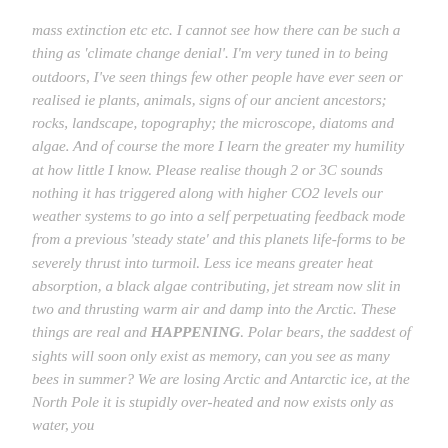mass extinction etc etc. I cannot see how there can be such a thing as 'climate change denial'. I'm very tuned in to being outdoors, I've seen things few other people have ever seen or realised ie plants, animals, signs of our ancient ancestors; rocks, landscape, topography; the microscope, diatoms and algae. And of course the more I learn the greater my humility at how little I know. Please realise though 2 or 3C sounds nothing it has triggered along with higher CO2 levels our weather systems to go into a self perpetuating feedback mode from a previous 'steady state' and this planets life-forms to be severely thrust into turmoil. Less ice means greater heat absorption, a black algae contributing, jet stream now slit in two and thrusting warm air and damp into the Arctic. These things are real and HAPPENING. Polar bears, the saddest of sights will soon only exist as memory, can you see as many bees in summer? We are losing Arctic and Antarctic ice, at the North Pole it is stupidly over-heated and now exists only as water, you